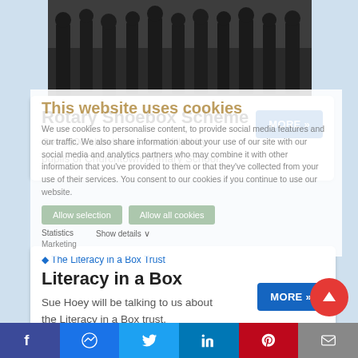[Figure (photo): Group of people standing in a row, viewed from waist/feet down, in school uniforms]
Rotary Shoebox Scheme
Over 200 shoeboxes were filled by pupils of Churchtown Primary School.
This website uses cookies
We use cookies to personalise content, to provide social media features and our traffic. We also share information about your use of our site with our social media and analytics partners who may combine it with other information that you've provided to them or that they've collected from your use of their services. You consent to our cookies if you continue to use our website.
[Figure (screenshot): The Literacy in a Box Trust logo/image placeholder]
Literacy in a Box
Sue Hoey will be talking to us about the Literacy in a Box trust.
Facebook | Messenger | Twitter | LinkedIn | Pinterest | Email